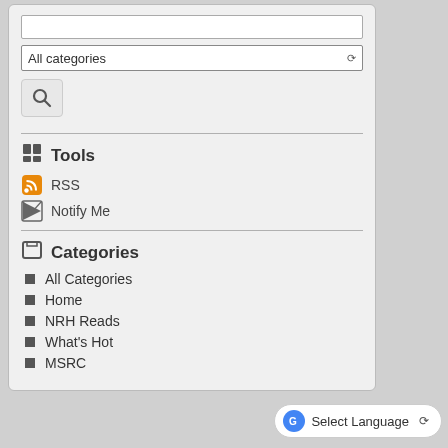[Figure (screenshot): Search input text box (empty)]
[Figure (screenshot): All categories dropdown selector]
[Figure (screenshot): Search button with magnifying glass icon]
Tools
RSS
Notify Me
Categories
All Categories
Home
NRH Reads
What's Hot
MSRC
[Figure (screenshot): Select Language button with Google Translate icon]